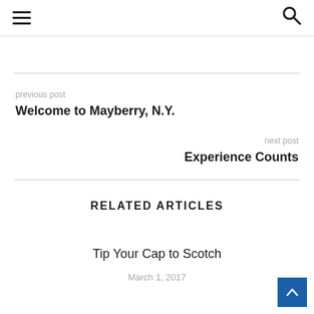≡ [hamburger menu] [search icon]
previous post
Welcome to Mayberry, N.Y.
next post
Experience Counts
RELATED ARTICLES
Tip Your Cap to Scotch
March 1, 2017